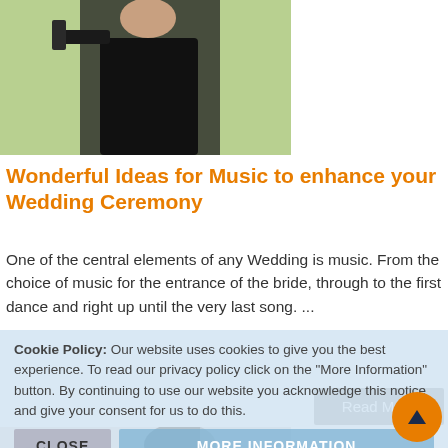[Figure (photo): Woman in black outfit outdoors on green background, cropped at torso/shoulders]
Wonderful Ideas for Music to enhance your Wedding Ceremony
One of the central elements of any Wedding is music. From the choice of music for the entrance of the bride, through to the first dance and right up until the very last song. ...
[Figure (photo): Woman with dark hair near flowers and decorations, wedding planner context]
Cookie Policy: Our website uses cookies to give you the best experience. To read our privacy policy click on the "More Information" button. By continuing to use our website you acknowledge this notice and give your consent for us to do this.